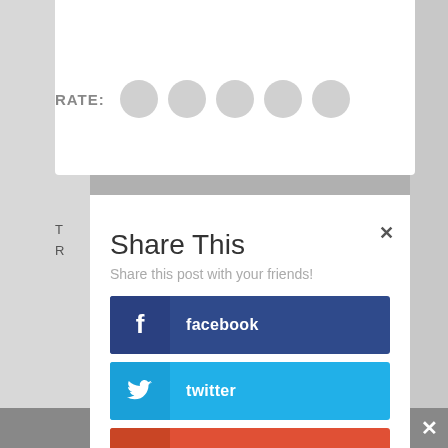[Figure (screenshot): Social sharing modal dialog over a blurred webpage background. Top area shows a star rating section with RATE: label and 5 gray circles. Modal has a close X button, title 'Share This', subtitle 'Share this post with your friends!', and five share buttons: facebook (dark blue), twitter (cyan blue), googleplus (red-orange), reddit (red-orange), like (red-orange).]